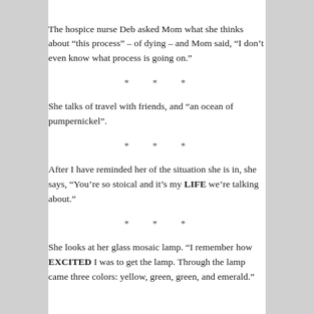The hospice nurse Deb asked Mom what she thinks about “this process” – of dying – and Mom said, “I don’t even know what process is going on.”
* * *
She talks of travel with friends, and “an ocean of pumpernickel”.
* * *
After I have reminded her of the situation she is in, she says, “You’re so stoical and it’s my LIFE we’re talking about.”
* * *
She looks at her glass mosaic lamp. “I remember how EXCITED I was to get the lamp. Through the lamp came three colors: yellow, green, green, and emerald.”